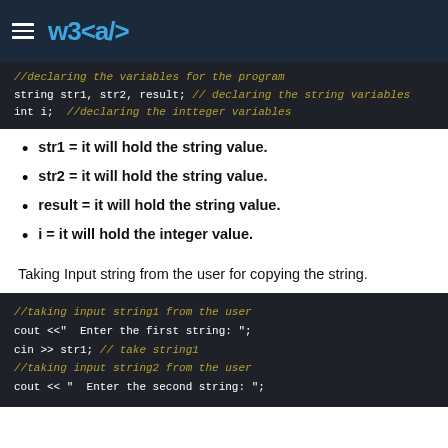w3 <a/>
[Figure (screenshot): Code block showing variable declarations: //declaring the variables for the program, string str1, str2, result; // declaring the string variables, int i; //declaring the intteger variables]
str1 = it will hold the string value.
str2 = it will hold the string value.
result = it will hold the string value.
i = it will hold the integer value.
Taking Input string from the user for copying the string.
[Figure (screenshot): Code block: //taking input string1 from the user, cout << "  Enter the first string: ";, cin >> str1; // take string1, //taking input string2 from the user, cout << "  Enter the second string: ";]